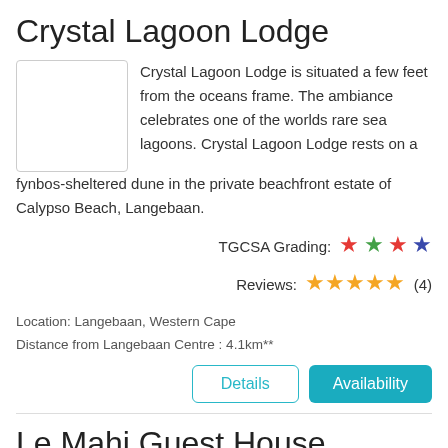Crystal Lagoon Lodge
[Figure (photo): Placeholder image thumbnail for Crystal Lagoon Lodge]
Crystal Lagoon Lodge is situated a few feet from the oceans frame. The ambiance celebrates one of the worlds rare sea lagoons. Crystal Lagoon Lodge rests on a fynbos-sheltered dune in the private beachfront estate of Calypso Beach, Langebaan.
TGCSA Grading: ★★★★  Reviews: ★★★★★ (4)
Location: Langebaan, Western Cape
Distance from Langebaan Centre : 4.1km**
Details  Availability
Le Mahi Guest House
[Figure (photo): Placeholder image thumbnail for Le Mahi Guest House]
At Le Mahi Guest House we offer exclusive accommodation for the